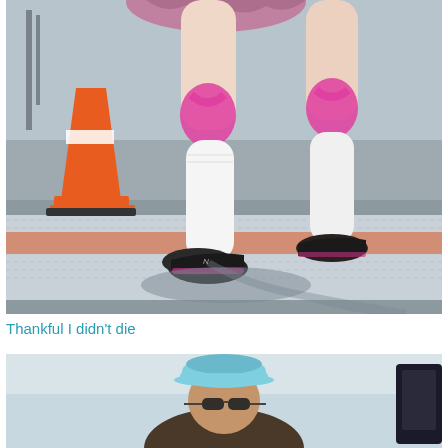[Figure (photo): Close-up photo of a runner's legs at a race. The runner is wearing a floral skirt, pink kinesiology tape on both knees, white compression socks, and New Balance running shoes. An orange traffic cone is visible on the left side. The runner is crossing a timing mat on the ground with a diamond-plate pattern and an orange stripe. Shadows are cast on the mat.]
Thankful I didn't die
[Figure (photo): Partial photo of a runner wearing a light blue bucket hat and sunglasses, visible from approximately the shoulders up. The background is bright and outdoors. A dark rectangular object is visible on the right edge.]